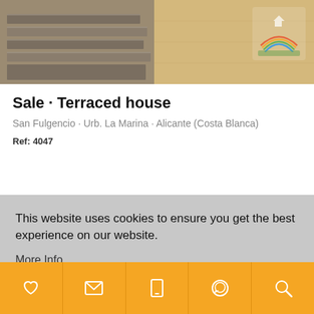[Figure (photo): Exterior photo of property stairs and wall with logo visible in top right corner]
Sale · Terraced house
San Fulgencio · Urb. La Marina · Alicante (Costa Blanca)
Ref: 4047
This website uses cookies to ensure you get the best experience on our website.
More Info
Continue
Heart icon, Email icon, Phone icon, WhatsApp icon, Search icon